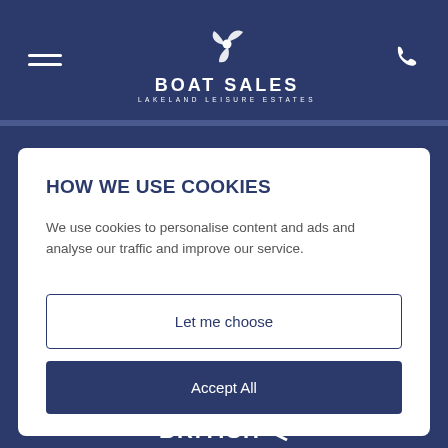[Figure (logo): Boat Sales Lakeland Leisure Estates logo with propeller icon, hamburger menu icon, and phone icon on dark navy header]
HOW WE USE COOKIES
We use cookies to personalise content and ads and analyse our traffic and improve our service.
Let me choose
Accept All
[Figure (logo): Partial British logo visible at bottom of page]